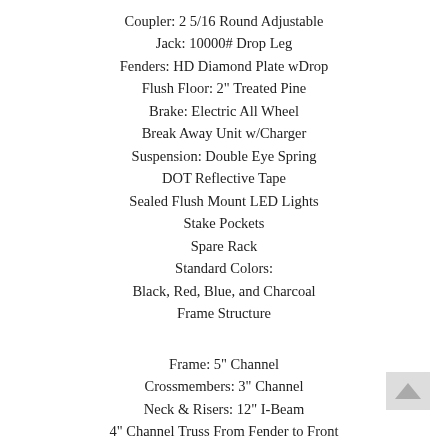Coupler: 2 5/16 Round Adjustable
Jack: 10000# Drop Leg
Fenders: HD Diamond Plate wDrop
Flush Floor: 2" Treated Pine
Brake: Electric All Wheel
Break Away Unit w/Charger
Suspension: Double Eye Spring
DOT Reflective Tape
Sealed Flush Mount LED Lights
Stake Pockets
Spare Rack
Standard Colors:
Black, Red, Blue, and Charcoal
Frame Structure
Frame: 5" Channel
Crossmembers: 3" Channel
Neck & Risers: 12" I-Beam
4" Channel Truss From Fender to Front
Floor to Fender Ht. 11"
2' Dovetail
Options